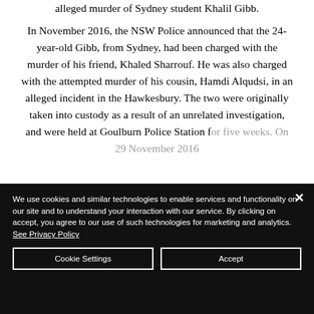alleged murder of Sydney student Khalil Gibb.

In November 2016, the NSW Police announced that the 24-year-old Gibb, from Sydney, had been charged with the murder of his friend, Khaled Sharrouf. He was also charged with the attempted murder of his cousin, Hamdi Alqudsi, in an alleged incident in the Hawkesbury. The two were originally taken into custody as a result of an unrelated investigation, and were held at Goulburn Police Station for five weeks. On 29 November 2016
We use cookies and similar technologies to enable services and functionality on our site and to understand your interaction with our service. By clicking on accept, you agree to our use of such technologies for marketing and analytics. See Privacy Policy